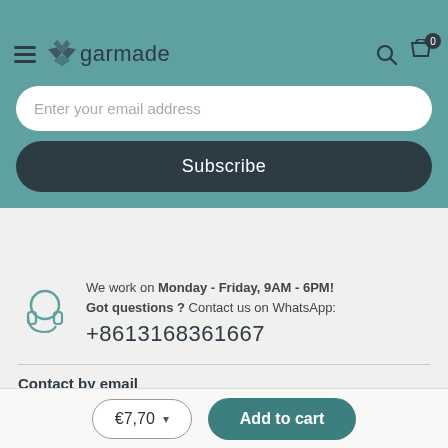garmade — navigation header with hamburger menu, logo, search and cart icons (0 items)
Enter your email address
Subscribe
We work on Monday - Friday, 9AM - 6PM! Got questions ? Contact us on WhatsApp: +8613168361667
Contact by email
support@garmade.com
[Figure (illustration): Facebook, Twitter, and Instagram social media icons]
€7,70  Add to cart